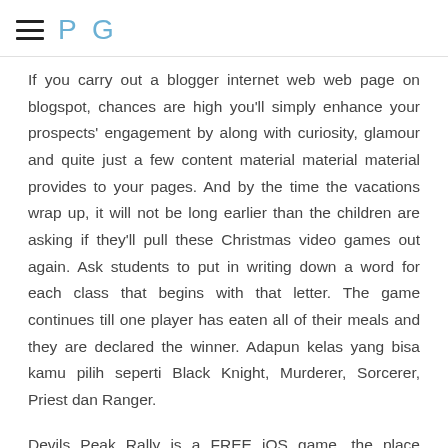P G
If you carry out a blogger internet web web page on blogspot, chances are high you'll simply enhance your prospects' engagement by along with curiosity, glamour and quite just a few content material material material provides to your pages. And by the time the vacations wrap up, it will not be long earlier than the children are asking if they'll pull these Christmas video games out again. Ask students to put in writing down a word for each class that begins with that letter. The game continues till one player has eaten all of their meals and they are declared the winner. Adapun kelas yang bisa kamu pilih seperti Black Knight, Murderer, Sorcerer, Priest dan Ranger.
Devils Peak Rally is a FREE iOS game, the place players race to the top of Devils Peak Mountain. In case you are lacking these instances while you were a little bit child and had loads of time for pencils and sketchbooks, Y8 stocked up some